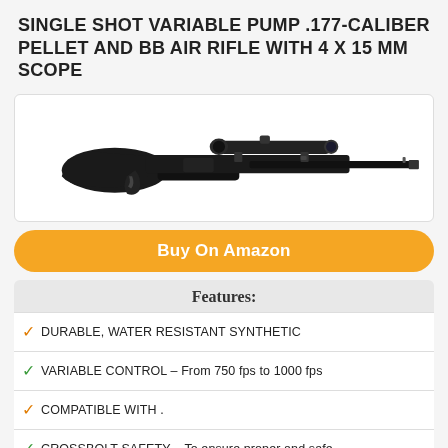SINGLE SHOT VARIABLE PUMP .177-CALIBER PELLET AND BB AIR RIFLE WITH 4 X 15 MM SCOPE
[Figure (photo): Product photo of a black single shot variable pump .177-caliber pellet and BB air rifle with a 4x15mm scope mounted on top, shown against white background]
Buy On Amazon
Features:
DURABLE, WATER RESISTANT SYNTHETIC
VARIABLE CONTROL – From 750 fps to 1000 fps
COMPATIBLE WITH .
CROSSBOLT SAFETY – To ensure proper and safe
COMES WITH A FIBER-OPTIC SIGHT AND 4 x 15
IDEAL FOR PLINKING OR PEST CONTROL.